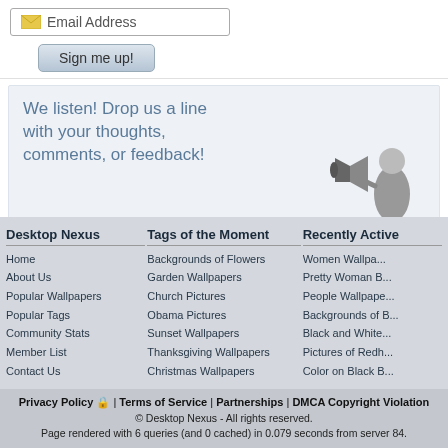[Figure (illustration): Email address input field with envelope icon and Sign me up! button]
[Figure (illustration): Feedback box with text 'We listen! Drop us a line with your thoughts, comments, or feedback!' and a grayscale illustration of a man with megaphone]
We listen! Drop us a line with your thoughts, comments, or feedback!
Support This Site
Desktop Nexus
Home
About Us
Popular Wallpapers
Popular Tags
Community Stats
Member List
Contact Us
Tags of the Moment
Backgrounds of Flowers
Garden Wallpapers
Church Pictures
Obama Pictures
Sunset Wallpapers
Thanksgiving Wallpapers
Christmas Wallpapers
Recently Active
Women Wallpa...
Pretty Woman B...
People Wallpape...
Backgrounds of B...
Black and White...
Pictures of Redh...
Color on Black B...
Privacy Policy | Terms of Service | Partnerships | DMCA Copyright Violation
© Desktop Nexus - All rights reserved.
Page rendered with 6 queries (and 0 cached) in 0.079 seconds from server 84.